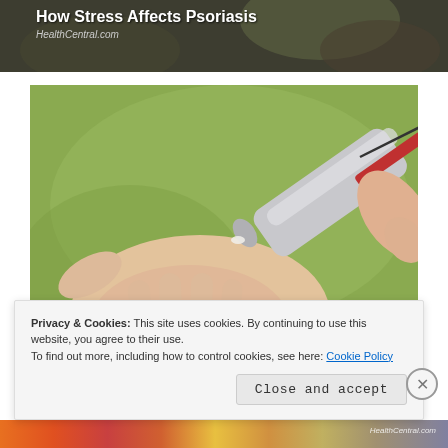[Figure (screenshot): Top banner with dark olive/brown blurred background showing text 'How Stress Affects Psoriasis' and subtitle 'HealthCentral.com']
How Stress Affects Psoriasis
HealthCentral.com
[Figure (photo): Close-up photograph of a hand (palm up) with a silver/metallic cream tube being applied to the palm, set against a soft green background]
Privacy & Cookies: This site uses cookies. By continuing to use this website, you agree to their use.
To find out more, including how to control cookies, see here: Cookie Policy
Close and accept